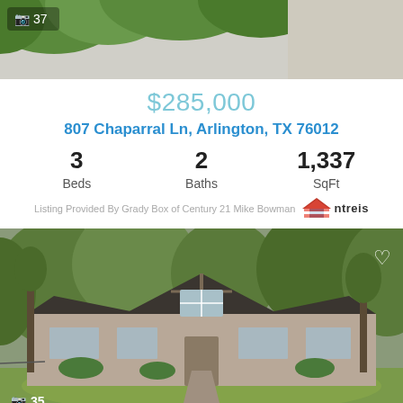[Figure (photo): Top portion of a property photo showing trees and driveway, with camera icon and count '37' overlay]
$285,000
807 Chaparral Ln, Arlington, TX 76012
3 Beds  2 Baths  1,337 SqFt
Listing Provided By Grady Box of Century 21 Mike Bowman  ntreis
[Figure (photo): Front exterior photo of a Tudor-style brick home with dark roof, large trees, and green lawn. Camera icon with count '35' in lower left, heart icon upper right.]